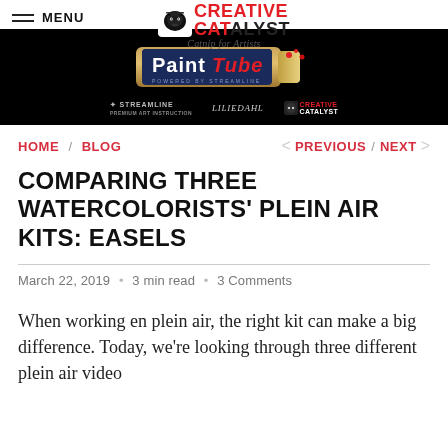MENU | Creative CATalyst — Catnip for Artists
[Figure (other): PaintTube banner advertisement with Streamline, Liliedahl, and Creative Catalyst logos on black background]
HOME / BLOG < PREVIOUS / NEXT >
COMPARING THREE WATERCOLORISTS' PLEIN AIR KITS: EASELS
March 22, 2019 • 3 min read • 3 Comments
When working en plein air, the right kit can make a big difference. Today, we're looking through three different plein air video